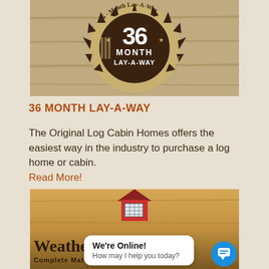[Figure (photo): Circular badge/seal with '36 MONTH LAY-A-WAY' text on dark brown background with gold/tan decorative border and sunburst pattern. Text around the rim reads '36-' and 'The' and 'bin Homes'.]
36 MONTH LAY-A-WAY
The Original Log Cabin Homes offers the easiest way in the industry to purchase a log home or cabin. Read More!
[Figure (photo): Photo of a small red cabin/house model on a wooden surface with text 'Weathertight Complete Materials Package' overlaid. A live chat widget bubble says 'We're Online! How may I help you today?' with a blue chat button in bottom right corner.]